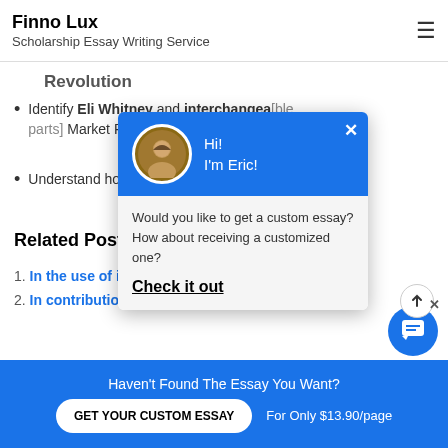Finno Lux
Scholarship Essay Writing Service
Revolution
Identify Eli Whitney and interchangeable [parts and their role in the] Market Revolution
Understand how the [Market Revolution affected the] North, South and We[st]
Related Posts:
In the use of inter[changeable parts]
In contributions were and why they're imp[ortant].
[Figure (screenshot): Chat popup with avatar of Eric, blue header saying 'Hi! I'm Eric!', body text 'Would you like to get a custom essay? How about receiving a customized one?' and a 'Check it out' link]
Haven't Found The Essay You Want?
GET YOUR CUSTOM ESSAY     For Only $13.90/page